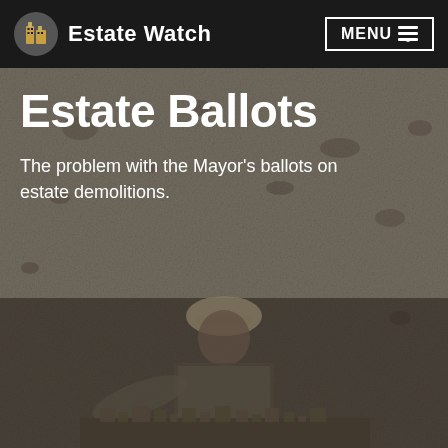Estate Watch  MENU
Estate Ballots
The problem with the Mayor's ballots on estate demolitions.
[Figure (photo): Black and white photograph of a person wearing a hard hat and high-visibility vest, standing over an architectural scale model, gesturing with one hand, against a rough concrete or stone wall background.]